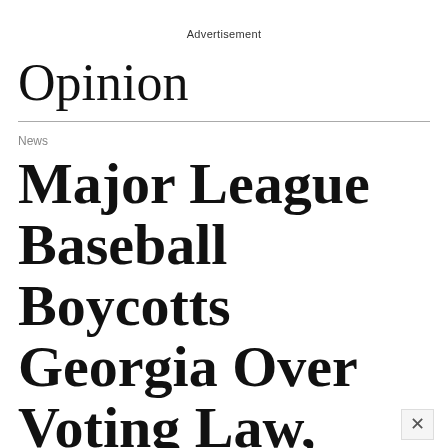Advertisement
Opinion
News
Major League Baseball Boycotts Georgia Over Voting Law,